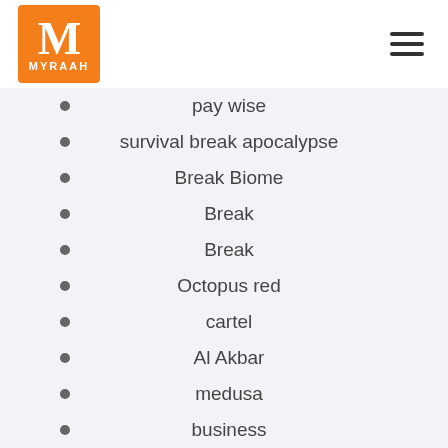[Figure (logo): Myraah logo: orange square with white M and MYRAAH text]
pay wise
survival break apocalypse
Break Biome
Break
Break
Octopus red
cartel
Al Akbar
medusa
business
taurus racing f1
Dog llamas cats
shark metal crypto